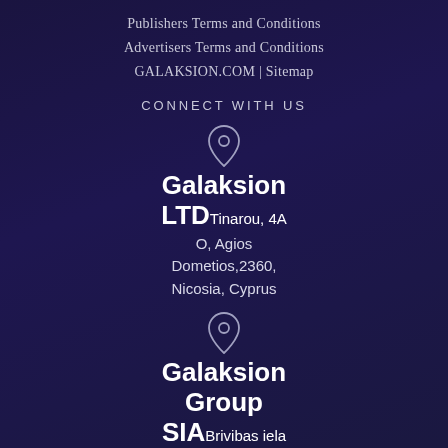Publishers Terms and Conditions
Advertisers Terms and Conditions
GALAKSION.COM | Sitemap
CONNECT WITH US
Galaksion LTD Tinarou, 4A O, Agios Dometios, 2360, Nicosia, Cyprus
Galaksion Group SIA Brivibas iela 57-16, LV-1010, Riga,